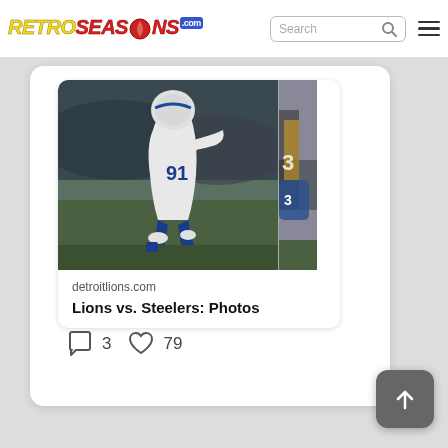RETROSEASONS.com – Search bar and hamburger menu
[Figure (screenshot): RetroSeasons website screenshot showing a social card for 'Lions vs. Steelers: Photos' from detroitlions.com with a football player in white Detroit Lions uniform on a field, comment count 3 and like count 79]
detroitlions.com
Lions vs. Steelers: Photos
3
79